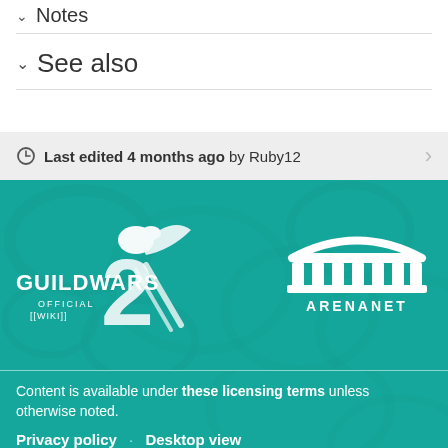Notes
See also
Last edited 4 months ago by Ruby12
[Figure (logo): Guild Wars 2 Official Wiki logo and ArenaNet logo on teal swirl background]
Content is available under these licensing terms unless otherwise noted.
Privacy policy · Desktop view